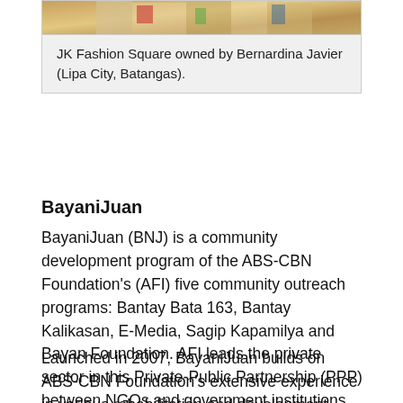[Figure (photo): Partial photo showing people standing, cropped at top of page]
JK Fashion Square owned by Bernardina Javier (Lipa City, Batangas).
BayaniJuan
BayaniJuan (BNJ) is a community development program of the ABS-CBN Foundation's (AFI) five community outreach programs: Bantay Bata 163, Bantay Kalikasan, E-Media, Sagip Kapamilya and Bayan Foundation. AFI leads the private sector in this Private-Public Partnership (PPP) between NGOs and government institutions.
Launched in 2007, BayaniJuan builds on ABS-CBN Foundation's extensive experience in various rehabilitation and development programs in education, child protection, civic, finance, and